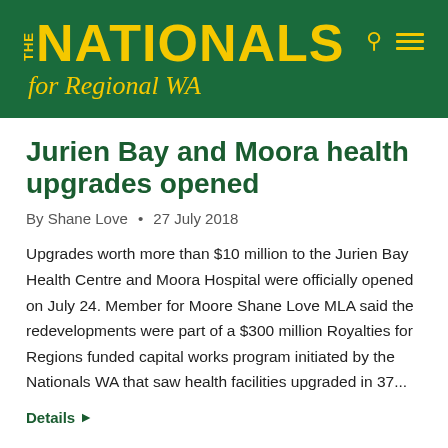[Figure (logo): The Nationals for Regional WA logo on dark green background with yellow text and italic tagline]
Jurien Bay and Moora health upgrades opened
By Shane Love • 27 July 2018
Upgrades worth more than $10 million to the Jurien Bay Health Centre and Moora Hospital were officially opened on July 24. Member for Moore Shane Love MLA said the redevelopments were part of a $300 million Royalties for Regions funded capital works program initiated by the Nationals WA that saw health facilities upgraded in 37...
Details ▶